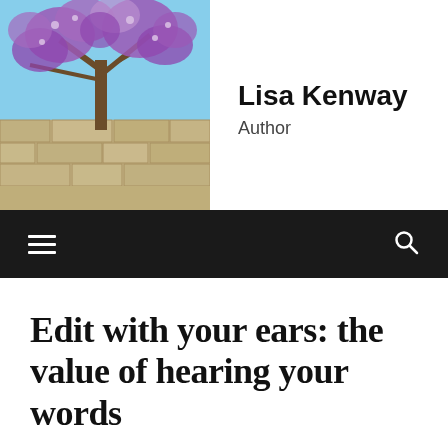[Figure (photo): Jacaranda tree with purple flowers over a stone wall, blue sky background — blog header photo]
Lisa Kenway
Author
[Figure (screenshot): Dark navigation bar with hamburger menu icon on the left and search icon on the right]
Edit with your ears: the value of hearing your words
DECEMBER 30, 2019 / LISA KENWAY
[Figure (photo): Young woman with orange headphones and glasses working at a computer, with city buildings visible through a window in the background]